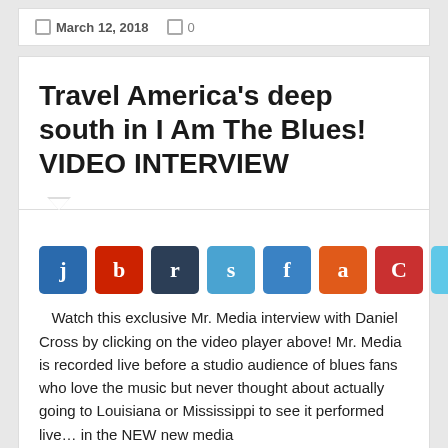March 12, 2018   0
Travel America's deep south in I Am The Blues! VIDEO INTERVIEW
[Figure (infographic): Row of 8 social sharing icon buttons labeled j, b, r, s, f, a, C, k in various colors]
Watch this exclusive Mr. Media interview with Daniel Cross by clicking on the video player above! Mr. Media is recorded live before a studio audience of blues fans who love the music but never thought about actually going to Louisiana or Mississippi to see it performed live... in the NEW new media...